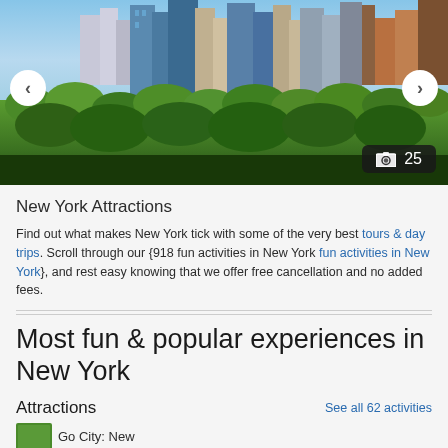[Figure (photo): Aerial panoramic view of New York City skyline with Central Park trees in the foreground and skyscrapers in the background under a blue sky. Navigation arrows on left and right. Photo count badge showing 25.]
New York Attractions
Find out what makes New York tick with some of the very best tours & day trips. Scroll through our {918 fun activities in New York fun activities in New York}, and rest easy knowing that we offer free cancellation and no added fees.
Most fun & popular experiences in New York
Attractions
See all 62 activities
Go City: New